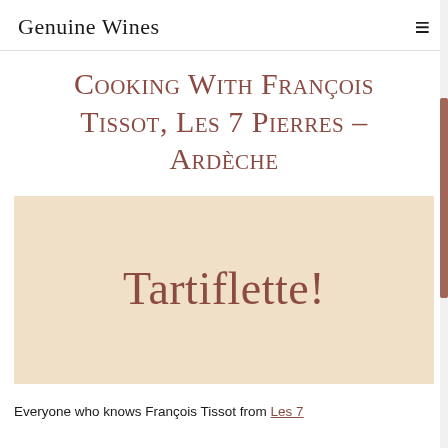Genuine Wines
Cooking With François Tissot, Les 7 Pierres – Ardèche
[Figure (other): Beige/tan background box with large decorative text reading 'Tartiflette!']
Everyone who knows François Tissot from Les 7